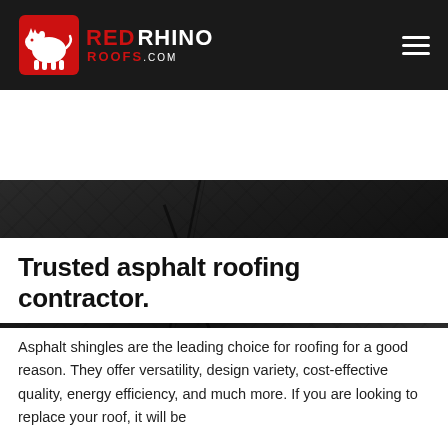Red Rhino Roofs.com
[Figure (screenshot): Red Rhino Roofs logo with stylized red rhino icon and navigation menu hamburger icon on dark background]
Asphalt Roofing
Trusted asphalt roofing contractor.
Asphalt shingles are the leading choice for roofing for a good reason. They offer versatility, design variety, cost-effective quality, energy efficiency, and much more. If you are looking to replace your roof, it will be